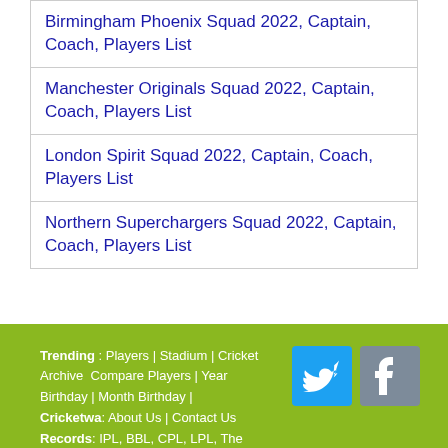Birmingham Phoenix Squad 2022, Captain, Coach, Players List
Manchester Originals Squad 2022, Captain, Coach, Players List
London Spirit Squad 2022, Captain, Coach, Players List
Northern Superchargers Squad 2022, Captain, Coach, Players List
Trending : Players | Stadium | Cricket Archive Compare Players | Year Birthday | Month Birthday | Cricketwa: About Us | Contact Us Records: IPL, BBL, CPL, LPL, The Hundred, RSWS